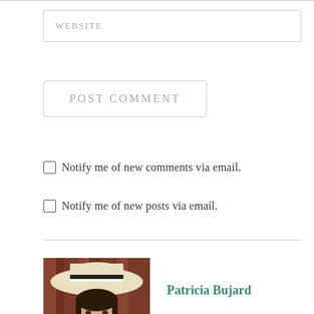WEBSITE
POST COMMENT
Notify me of new comments via email.
Notify me of new posts via email.
[Figure (photo): Portrait photo of Patricia Bujard wearing a wide-brimmed white hat and purple top, smiling, against a reddish-brown wood background]
Patricia Bujard